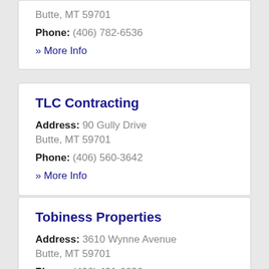Butte, MT 59701
Phone: (406) 782-6536
» More Info
TLC Contracting
Address: 90 Gully Drive Butte, MT 59701
Phone: (406) 560-3642
» More Info
Tobiness Properties
Address: 3610 Wynne Avenue Butte, MT 59701
Phone: (406) 491-6636